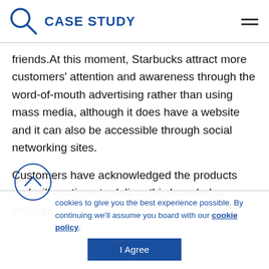CASE STUDY
friends.At this moment, Starbucks attract more customers' attention and awareness through the word-of-mouth advertising rather than using mass media, although it does have a website and it can also be accessible through social networking sites.
Customers have acknowledged the products and will continue to deliver this knowledge through
We use cookies to give you the best experience possible. By continuing we'll assume you board with our cookie policy.
I Agree